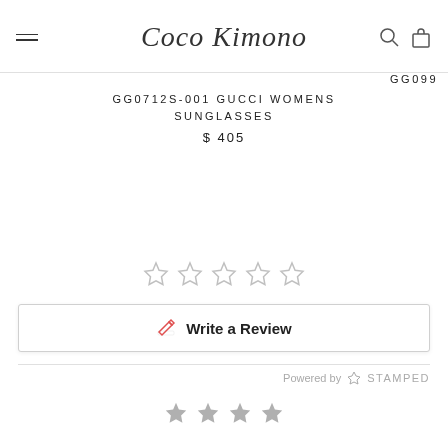Coco Kimono
GG0712S-001 GUCCI WOMENS SUNGLASSES
$ 405
[Figure (other): Five empty star rating icons in a row]
Write a Review
Powered by STAMPED
[Figure (other): Four filled grey star rating icons in a row]